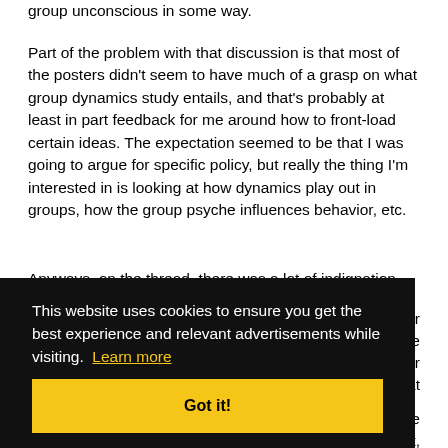group unconscious in some way.
Part of the problem with that discussion is that most of the posters didn't seem to have much of a grasp on what group dynamics study entails, and that's probably at least in part feedback for me around how to front-load certain ideas. The expectation seemed to be that I was going to argue for specific policy, but really the thing I'm interested in is looking at how dynamics play out in groups, how the group psyche influences behavior, etc.
Anyways, on the thread, there was a lot of indignation from
g or age er That face ert,
So what I want to look at is the idea of directionality, as it
This website uses cookies to ensure you get the best experience and relevant advertisements while visiting. Learn more
Got it!